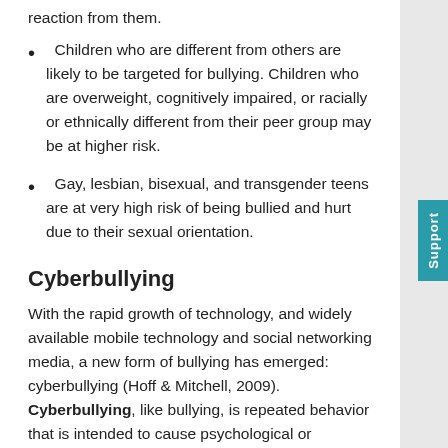Children who are different from others are likely to be targeted for bullying. Children who are overweight, cognitively impaired, or racially or ethnically different from their peer group may be at higher risk.
Gay, lesbian, bisexual, and transgender teens are at very high risk of being bullied and hurt due to their sexual orientation.
Cyberbullying
With the rapid growth of technology, and widely available mobile technology and social networking media, a new form of bullying has emerged: cyberbullying (Hoff & Mitchell, 2009). Cyberbullying, like bullying, is repeated behavior that is intended to cause psychological or emotional harm to another person. What is unique about cyberbullying is that it is typically covert,